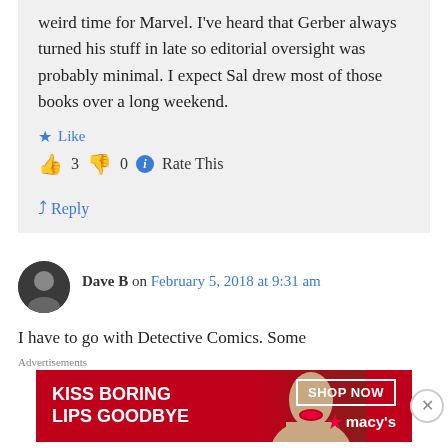weird time for Marvel. I've heard that Gerber always turned his stuff in late so editorial oversight was probably minimal. I expect Sal drew most of those books over a long weekend.
Like
👍 3 👎 0 ℹ Rate This
Reply
Dave B on February 5, 2018 at 9:31 am
I have to go with Detective Comics. Some
Advertisements
[Figure (illustration): Macy's advertisement banner: 'KISS BORING LIPS GOODBYE' with SHOP NOW button and Macy's star logo on red background]